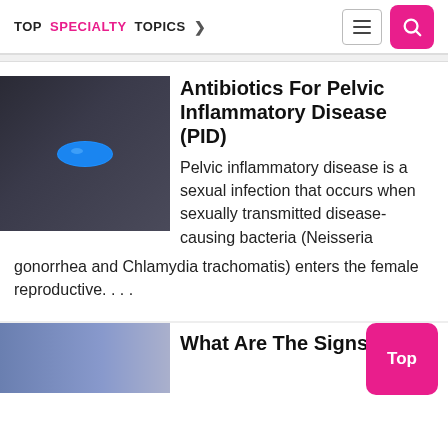TOP SPECIALTY TOPICS
[Figure (photo): Hand holding a blue pill/capsule against dark background]
Antibiotics For Pelvic Inflammatory Disease (PID)
Pelvic inflammatory disease is a sexual infection that occurs when sexually transmitted disease-causing bacteria (Neisseria gonorrhea and Chlamydia trachomatis) enters the female reproductive. . . .
[Figure (photo): Person wearing blue clothing, partial body view]
What Are The Signs And